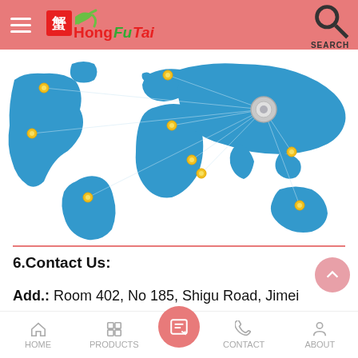HongFuTai — navigation header with hamburger menu, logo, and search icon
[Figure (map): World map in blue showing HongFuTai's global distribution network with yellow dot markers across continents (Americas, Europe, Africa, Asia, Australia) and lines radiating from China/Asia region. A circular silver badge is at the China location.]
6.Contact Us:
Add.: Room 402, No 185, Shigu Road, Jimei District, Xiamen City, Fujian Province, China.
HOME | PRODUCTS | (inquiry button) | CONTACT | ABOUT